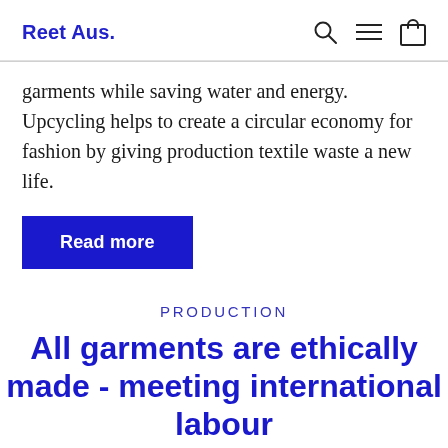Reet Aus.
garments while saving water and energy. Upcycling helps to create a circular economy for fashion by giving production textile waste a new life.
Read more
PRODUCTION
All garments are ethically made - meeting international labour